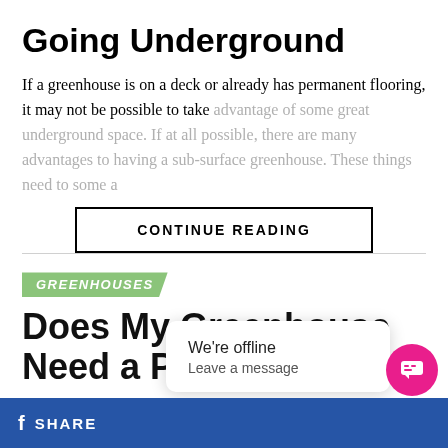Going Underground
If a greenhouse is on a deck or already has permanent flooring, it may not be possible to take advantage of some great underground space. If at all possible, there are many advantages to having a sub-surface greenhouse. These things need to some a
CONTINUE READING
GREENHOUSES
Does My Greenhouse Need a Permit?
Published 7 yea...
We're offline
Leave a message
SHARE